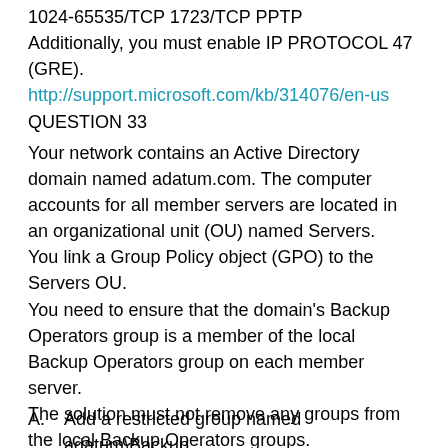1024-65535/TCP 1723/TCP PPTP
Additionally, you must enable IP PROTOCOL 47 (GRE).
http://support.microsoft.com/kb/314076/en-us
QUESTION 33
Your network contains an Active Directory domain named adatum.com. The computer accounts for all member servers are located in an organizational unit (OU) named Servers.
You link a Group Policy object (GPO) to the Servers OU.
You need to ensure that the domain's Backup Operators group is a member of the local Backup Operators group on each member server.
The solution must not remove any groups from the local Backup Operators groups.
What should you do?
A.    Add a restricted group named adatum\Backup Operators...